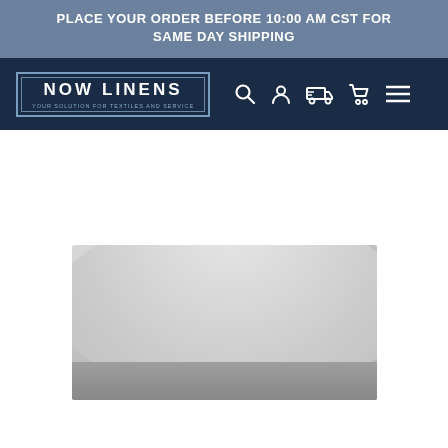PLACE YOUR ORDER BEFORE 10:00 AM CST FOR SAME DAY SHIPPING
[Figure (logo): Now Linens logo with tagline 'YOUR SOLUTION FOR TEXTILES AND SERVICE' in a double-bordered rectangle, on dark navy navigation bar with search, account, shipping, cart, and menu icons]
[Figure (photo): Close-up product photo of white/light grey bed linens including a pillow and folded sheet on a white background]